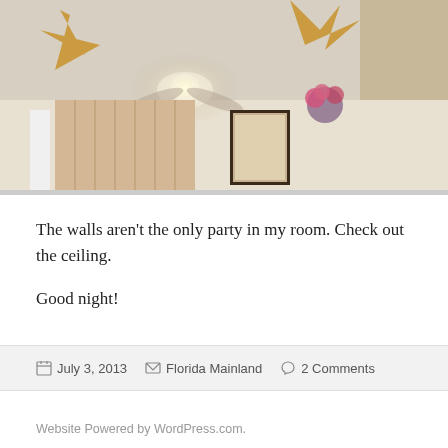[Figure (photo): Interior room photo showing ceiling with decorative star/boomerang-shaped wooden trim elements and a ceiling fan light fixture; wall with curtains, a framed portrait, and a hanging flower arrangement.]
The walls aren't the only party in my room. Check out the ceiling.
Good night!
July 3, 2013   Florida Mainland   2 Comments
Website Powered by WordPress.com.